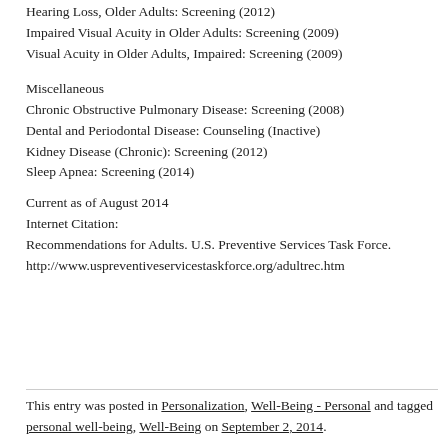Hearing Loss, Older Adults: Screening (2012)
Impaired Visual Acuity in Older Adults: Screening (2009)
Visual Acuity in Older Adults, Impaired: Screening (2009)
Miscellaneous
Chronic Obstructive Pulmonary Disease: Screening (2008)
Dental and Periodontal Disease: Counseling (Inactive)
Kidney Disease (Chronic): Screening (2012)
Sleep Apnea: Screening (2014)
Current as of August 2014
Internet Citation:
Recommendations for Adults. U.S. Preventive Services Task Force.
http://www.uspreventiveservicestaskforce.org/adultrec.htm
This entry was posted in Personalization, Well-Being - Personal and tagged personal well-being, Well-Being on September 2, 2014.